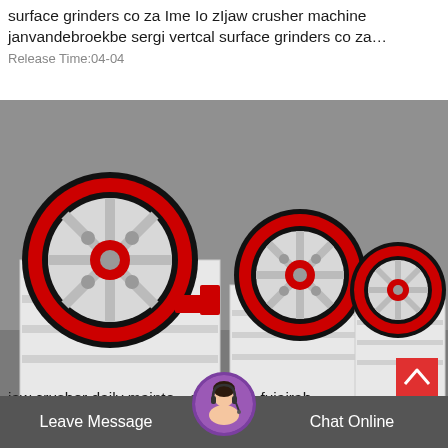surface grinders co za Ime Io zIjaw crusher machine janvandebroekbe sergi vertcal surface grinders co za… Release Time:04-04
[Figure (photo): Multiple jaw crusher machines lined up in a factory/warehouse setting. The machines are white with large red and black flywheels. Several units are visible in a row decreasing in size toward the background.]
jaw crusher daily mainte…chedulein fujairah
Leave Message
Chat Online